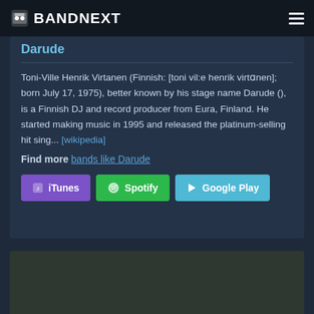BANDNEXT
Darude
Toni-Ville Henrik Virtanen (Finnish: [toni vil:e henrik virtɑnen]; born July 17, 1975), better known by his stage name Darude (), is a Finnish DJ and record producer from Eura, Finland. He started making music in 1995 and released the platinum-selling hit sing... [wikipedia]
Find more bands like Darude
[Figure (other): iTunes, Spotify, Google Play buttons]